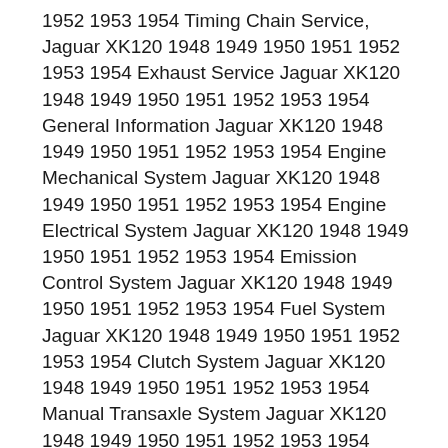1952 1953 1954 Timing Chain Service, Jaguar XK120 1948 1949 1950 1951 1952 1953 1954 Exhaust Service Jaguar XK120 1948 1949 1950 1951 1952 1953 1954 General Information Jaguar XK120 1948 1949 1950 1951 1952 1953 1954 Engine Mechanical System Jaguar XK120 1948 1949 1950 1951 1952 1953 1954 Engine Electrical System Jaguar XK120 1948 1949 1950 1951 1952 1953 1954 Emission Control System Jaguar XK120 1948 1949 1950 1951 1952 1953 1954 Fuel System Jaguar XK120 1948 1949 1950 1951 1952 1953 1954 Clutch System Jaguar XK120 1948 1949 1950 1951 1952 1953 1954 Manual Transaxle System Jaguar XK120 1948 1949 1950 1951 1952 1953 1954 Automatic Transaxle System Jaguar XK120 1948 1949 1950 1951 1952 1953 1954 Driveshaft and axle Jaguar XK120 1948 1949 1950 1951 1952 1953 1954 Suspension System Jaguar XK120 1948 1949 1950 1951 1952 1953 1954 Steering System